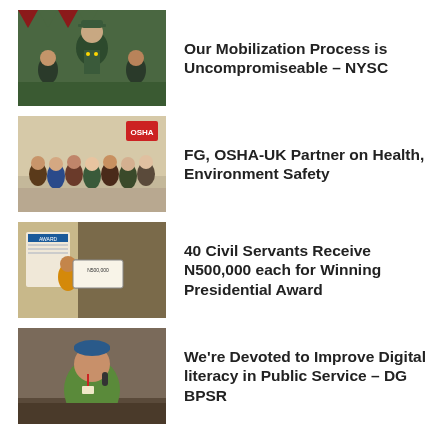[Figure (photo): Military officer in green uniform at event]
Our Mobilization Process is Uncompromiseable – NYSC
[Figure (photo): Group of people at a health/environment safety event]
FG, OSHA-UK Partner on Health, Environment Safety
[Figure (photo): Civil servants receiving award cheque]
40 Civil Servants Receive N500,000 each for Winning Presidential Award
[Figure (photo): Man in traditional attire speaking]
We're Devoted to Improve Digital literacy in Public Service – DG BPSR
[Figure (infographic): Social media sharing icons: WhatsApp, Facebook, Twitter, LinkedIn, Pinterest, Reddit, Email, Print]